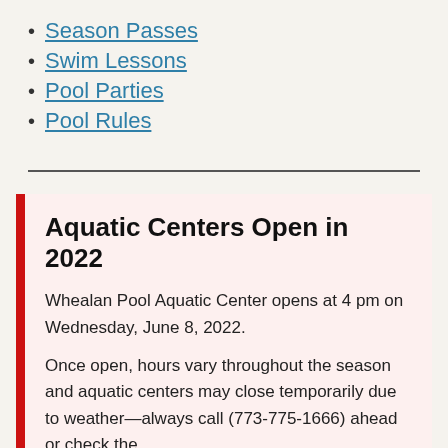Season Passes
Swim Lessons
Pool Parties
Pool Rules
Aquatic Centers Open in 2022
Whealan Pool Aquatic Center opens at 4 pm on Wednesday, June 8, 2022.
Once open, hours vary throughout the season and aquatic centers may close temporarily due to weather—always call (773-775-1666) ahead or check the